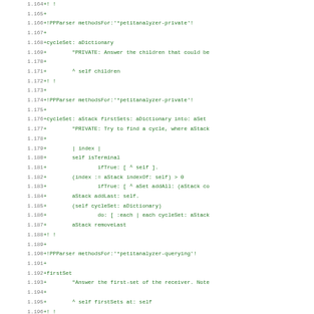Code diff listing lines 1.164 through 1.196, showing additions to PPParser methods for petitanalyzer-private and petitanalyzer-querying categories, including cycleSet: aDictionary, cycleSet: aStack firstSets: aDictionary into: aSet, and firstSet methods.